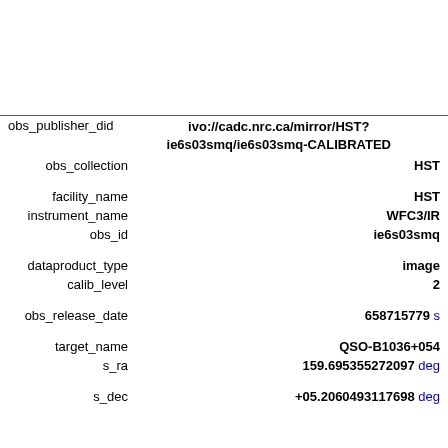obs_publisher_did ivo://cadc.nrc.ca/mirror/HST?ie6s03smq/ie6s03smq-CALIBRATED
obs_collection HST
facility_name HST
instrument_name WFC3/IR
obs_id ie6s03smq
dataproduct_type image
calib_level 2
obs_release_date 658715779 s
target_name QSO-B1036+054
s_ra 159.695355272097 deg
s_dec +05.2060493117698 deg